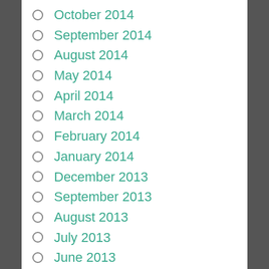October 2014
September 2014
August 2014
May 2014
April 2014
March 2014
February 2014
January 2014
December 2013
September 2013
August 2013
July 2013
June 2013
May 2013
April 2013